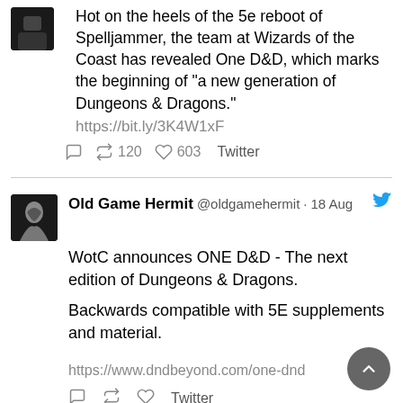[Figure (photo): Dark avatar image, top-left, partially cropped]
Hot on the heels of the 5e reboot of Spelljammer, the team at Wizards of the Coast has revealed One D&D, which marks the beginning of "a new generation of Dungeons & Dragons."
https://bit.ly/3K4W1xF
120  603  Twitter
[Figure (photo): Black and white avatar of Old Game Hermit showing a robed figure]
Old Game Hermit @oldgamehermit · 18 Aug
WotC announces ONE D&D - The next edition of Dungeons & Dragons.

Backwards compatible with 5E supplements and material.

https://www.dndbeyond.com/one-dnd
Twitter